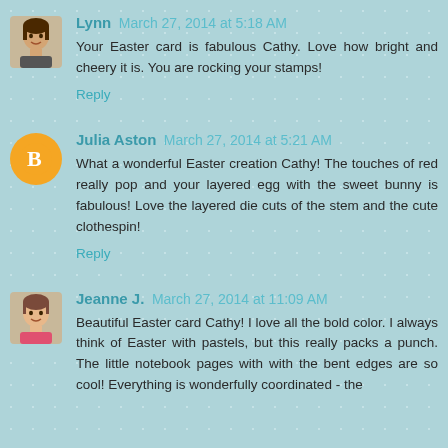Lynn March 27, 2014 at 5:18 AM
Your Easter card is fabulous Cathy. Love how bright and cheery it is. You are rocking your stamps!
Reply
Julia Aston March 27, 2014 at 5:21 AM
What a wonderful Easter creation Cathy! The touches of red really pop and your layered egg with the sweet bunny is fabulous! Love the layered die cuts of the stem and the cute clothespin!
Reply
Jeanne J. March 27, 2014 at 11:09 AM
Beautiful Easter card Cathy! I love all the bold color. I always think of Easter with pastels, but this really packs a punch. The little notebook pages with with the bent edges are so cool! Everything is wonderfully coordinated - the